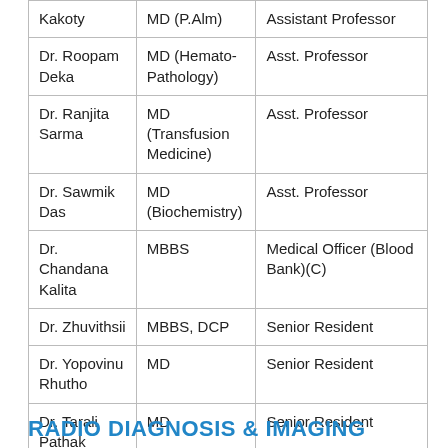| Kakoty | MD (P.Alm) | Assistant Professor |
| Dr. Roopam Deka | MD (Hemato-Pathology) | Asst. Professor |
| Dr. Ranjita Sarma | MD (Transfusion Medicine) | Asst. Professor |
| Dr. Sawmik Das | MD (Biochemistry) | Asst. Professor |
| Dr. Chandana Kalita | MBBS | Medical Officer (Blood Bank)(C) |
| Dr. Zhuvithsii | MBBS, DCP | Senior Resident |
| Dr. Yopovinu Rhutho | MD | Senior Resident |
| Dr. Tarali Pathak | MD | Senior Resident |
| Dr. Argha Baruah | MD | Senior Resident |
RADIO DIAGNOSIS & IMAGING